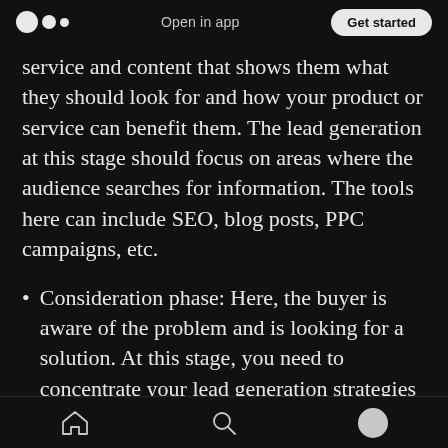Open in app | Get started
service and content that shows them what they should look for and how your product or service can benefit them. The lead generation at this stage should focus on areas where the audience searches for information. The tools here can include SEO, blog posts, PPC campaigns, etc.
Consideration phase: Here, the buyer is aware of the problem and is looking for a solution. At this stage, you need to concentrate your lead generation strategies
[Home] [Search] [Profile]